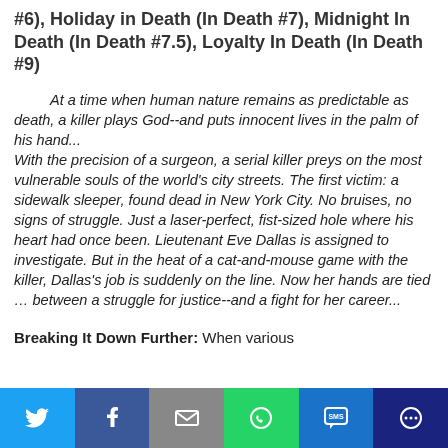#6), Holiday in Death (In Death #7), Midnight In Death (In Death #7.5), Loyalty In Death (In Death #9)
At a time when human nature remains as predictable as death, a killer plays God--and puts innocent lives in the palm of his hand... With the precision of a surgeon, a serial killer preys on the most vulnerable souls of the world's city streets. The first victim: a sidewalk sleeper, found dead in New York City. No bruises, no signs of struggle. Just a laser-perfect, fist-sized hole where his heart had once been. Lieutenant Eve Dallas is assigned to investigate. But in the heat of a cat-and-mouse game with the killer, Dallas's job is suddenly on the line. Now her hands are tied ... between a struggle for justice--and a fight for her career...
Breaking It Down Further: When various victims begin first appearing around New York City...
[Figure (infographic): Social sharing bar with Twitter, Facebook, Email, WhatsApp, SMS, and More buttons]